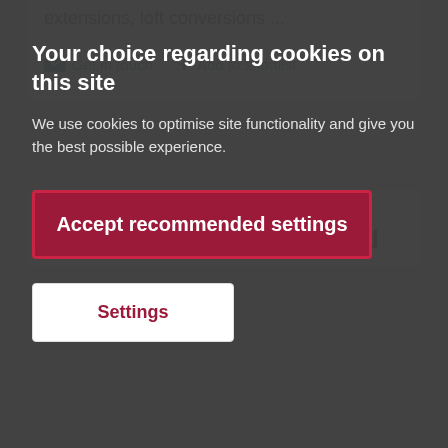extensions, loft conversions …
Get in touch   Add to shortlist
[Figure (logo): Property Care Specialists logo — purple text reading PROPERTY CARE SPECIALISTS]
Property Care Specialists Ltd
Your choice regarding cookies on this site
We use cookies to optimise site functionality and give you the best possible experience.
Accept recommended settings
Settings